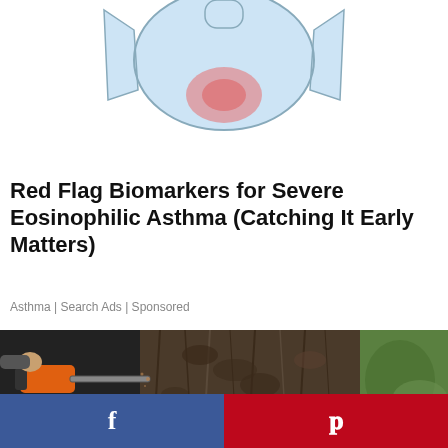[Figure (illustration): Cartoon-style illustration of a torso/body with a highlighted red/pink area on the chest, suggesting pain or inflammation, on a light blue background.]
Red Flag Biomarkers for Severe Eosinophilic Asthma (Catching It Early Matters)
Asthma | Search Ads | Sponsored
[Figure (photo): Photograph of a person using an orange chainsaw to cut through a large tree trunk outdoors, with green grass and foliage visible in the background.]
f   p